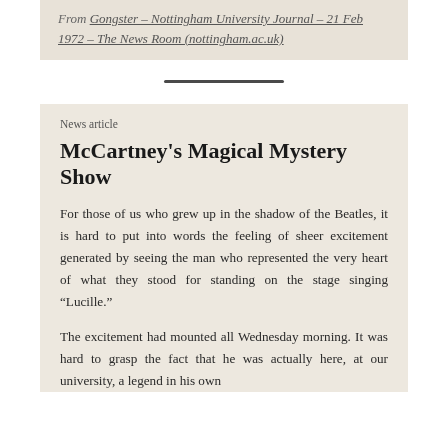From Gongster – Nottingham University Journal – 21 Feb 1972 – The News Room (nottingham.ac.uk)
News article
McCartney's Magical Mystery Show
For those of us who grew up in the shadow of the Beatles, it is hard to put into words the feeling of sheer excitement generated by seeing the man who represented the very heart of what they stood for standing on the stage singing “Lucille.”
The excitement had mounted all Wednesday morning. It was hard to grasp the fact that he was actually here, at our university, a legend in his own